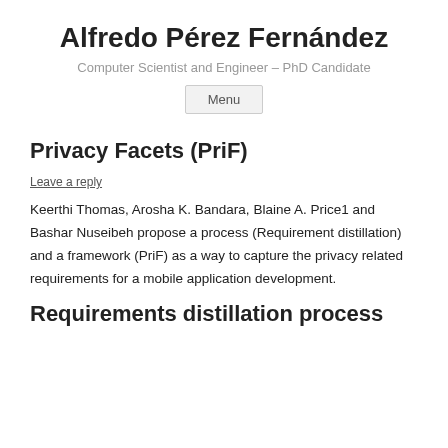Alfredo Pérez Fernández
Computer Scientist and Engineer – PhD Candidate
Menu
Privacy Facets (PriF)
Leave a reply
Keerthi Thomas, Arosha K. Bandara, Blaine A. Price1 and Bashar Nuseibeh propose a process (Requirement distillation) and a framework (PriF) as a way to capture the privacy related requirements for a mobile application development.
Requirements distillation process